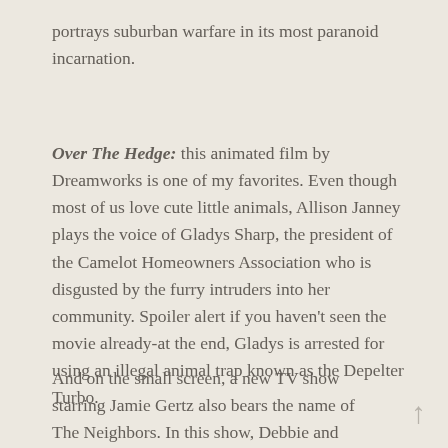portrays suburban warfare in its most paranoid incarnation.
Over The Hedge: this animated film by Dreamworks is one of my favorites. Even though most of us love cute little animals, Allison Janney plays the voice of Gladys Sharp, the president of the Camelot Homeowners Association who is disgusted by the furry intruders into her community. Spoiler alert if you haven't seen the movie already-at the end, Gladys is arrested for using an illegal animal trap known as the Depelter Turbo.
And on the small screen, a new TV show starring Jamie Gertz also bears the name of The Neighbors. In this show, Debbie and